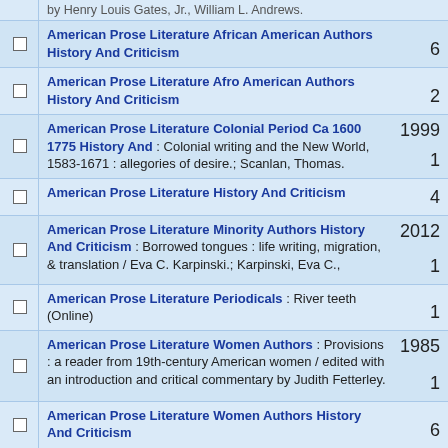by Henry Louis Gates, Jr., William L. Andrews.
American Prose Literature African American Authors History And Criticism — 6
American Prose Literature Afro American Authors History And Criticism — 2
American Prose Literature Colonial Period Ca 1600 1775 History And : Colonial writing and the New World, 1583-1671 : allegories of desire.; Scanlan, Thomas. — 1999 — 1
American Prose Literature History And Criticism — 4
American Prose Literature Minority Authors History And Criticism : Borrowed tongues : life writing, migration, & translation / Eva C. Karpinski.; Karpinski, Eva C., — 2012 — 1
American Prose Literature Periodicals : River teeth (Online) — 1
American Prose Literature Women Authors : Provisions : a reader from 19th-century American women / edited with an introduction and critical commentary by Judith Fetterley. — 1985 — 1
American Prose Literature Women Authors History And Criticism — 6
American Prose Literature Women Authors — 2